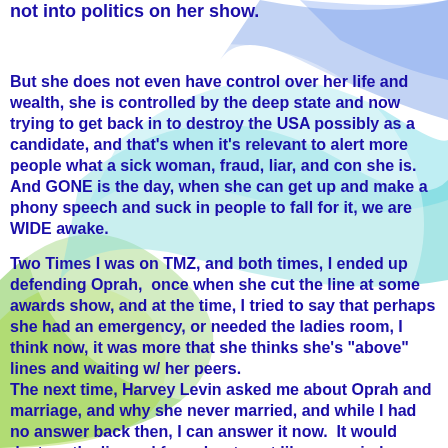not into politics on her show.
But she does not even have control over her life and wealth, she is controlled by the deep state and now trying to get back in to destroy the USA possibly as a candidate, and that's when it's relevant to alert more people what a sick woman, fraud, liar, and con she is. And GONE is the day, when she can get up and make a phony speech and suck in people to fall for it, we are WIDE awake.
Two Times I was on TMZ, and both times, I ended up defending Oprah,  once when she cut the line at some awards show, and at the time, I tried to say that perhaps she had an emergency, or needed the ladies room, I think now, it was more that she thinks she's "above" lines and waiting w/ her peers.
The next time, Harvey Levin asked me about Oprah and marriage, and why she never married, and while I had no answer back then, I can answer it now.  It would destroy the lie, and force her to act like a married woman, vs. a